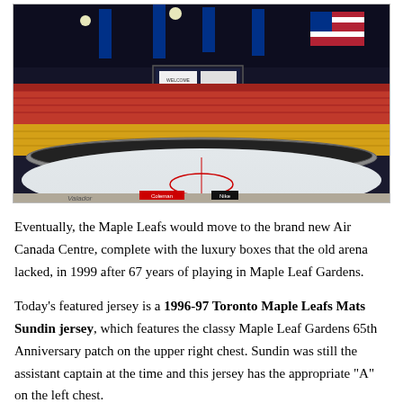[Figure (photo): Interior view of Maple Leaf Gardens arena, showing the ice rink, red and yellow seating sections, hanging scoreboard with WELCOME sign, blue Toronto Maple Leafs banners, and an American flag in the upper right corner.]
Eventually, the Maple Leafs would move to the brand new Air Canada Centre, complete with the luxury boxes that the old arena lacked, in 1999 after 67 years of playing in Maple Leaf Gardens.
Today's featured jersey is a 1996-97 Toronto Maple Leafs Mats Sundin jersey, which features the classy Maple Leaf Gardens 65th Anniversary patch on the upper right chest. Sundin was still the assistant captain at the time and this jersey has the appropriate "A" on the left chest.